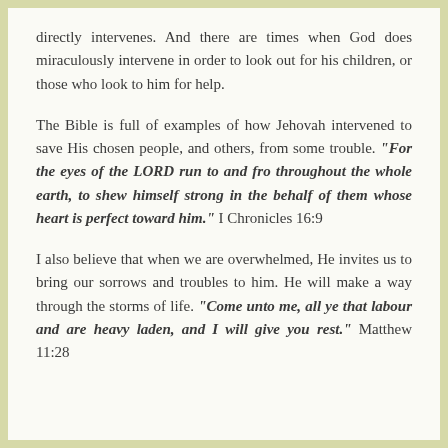directly intervenes. And there are times when God does miraculously intervene in order to look out for his children, or those who look to him for help.
The Bible is full of examples of how Jehovah intervened to save His chosen people, and others, from some trouble. "For the eyes of the LORD run to and fro throughout the whole earth, to shew himself strong in the behalf of them whose heart is perfect toward him." I Chronicles 16:9
I also believe that when we are overwhelmed, He invites us to bring our sorrows and troubles to him. He will make a way through the storms of life. "Come unto me, all ye that labour and are heavy laden, and I will give you rest." Matthew 11:28